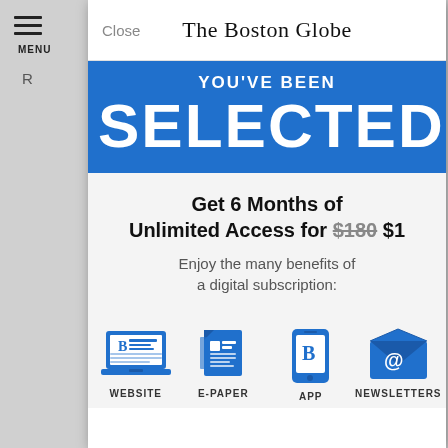The Boston Globe
YOU'VE BEEN SELECTED
Get 6 Months of Unlimited Access for $180 $1
Enjoy the many benefits of a digital subscription:
[Figure (infographic): Four blue icons representing: WEBSITE (laptop with Boston Globe logo), E-PAPER (newspaper), APP (smartphone with B logo), NEWSLETTERS (envelope with @ symbol)]